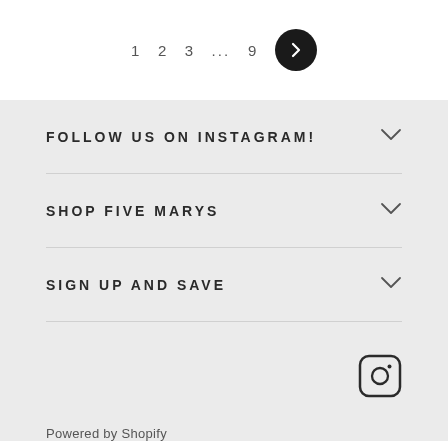[Figure (other): Pagination controls showing page numbers 1, 2, 3, ..., 9 and a next arrow button in a black circle]
FOLLOW US ON INSTAGRAM!
SHOP FIVE MARYS
SIGN UP AND SAVE
[Figure (logo): Instagram icon (camera outline with rounded square border)]
Powered by Shopify